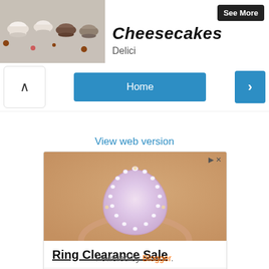[Figure (photo): Food photo showing small dessert cups and cheesecakes on a table]
Cheesecakes
Delici
See More
Home
View web version
[Figure (photo): Advertisement showing a pear-shaped pink morganite diamond halo ring on a rose gold band, with ad controls (play and close buttons)]
Ring Clearance Sale
Deals on Diamonds
Open >
Powered by Blogger.